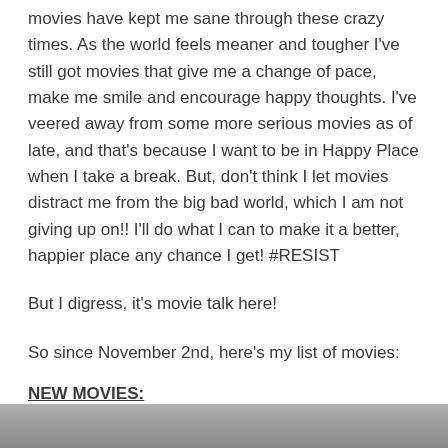movies have kept me sane through these crazy times. As the world feels meaner and tougher I've still got movies that give me a change of pace, make me smile and encourage happy thoughts. I've veered away from some more serious movies as of late, and that's because I want to be in Happy Place when I take a break. But, don't think I let movies distract me from the big bad world, which I am not giving up on!! I'll do what I can to make it a better, happier place any chance I get! #RESIST
But I digress, it's movie talk here!
So since November 2nd, here's my list of movies:
NEW MOVIES:
THOR: RAGNAROK (2017) | 11/2/17 | Arclight Pasadena
[Figure (photo): Partial image at the bottom of the page, appears to be a movie-related photograph, mostly grey/dark tones]